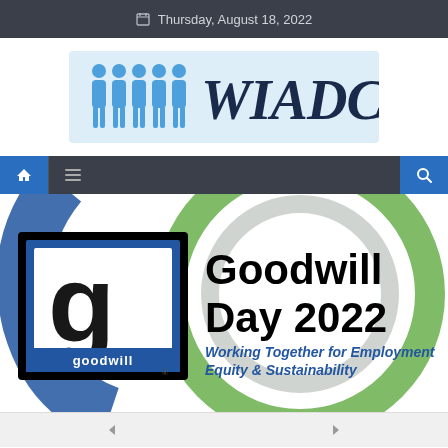Thursday, August 18, 2022
[Figure (logo): WIADCA logo with stylized blue figures and WIADCA text in dark navy]
[Figure (logo): Navigation bar with home icon, menu icon, and search icon]
[Figure (logo): Goodwill Day 2022 banner with Goodwill logo and text: Working Together for Employment Equity & Sustainability]